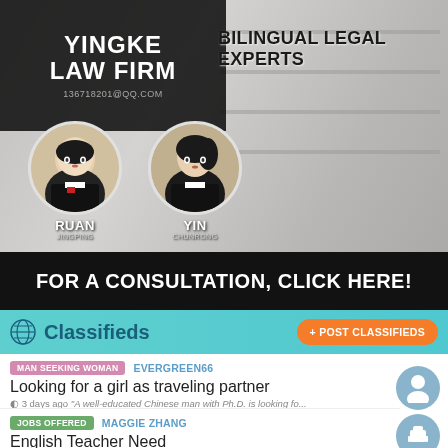[Figure (infographic): Yingke Law Firm advertisement banner showing two female lawyers (Ruan Jingping and Yin Chunrong), text 'YINGKE LAW FIRM 136718201@QQ.COM BILINGUAL LEGAL EXPERTS FOR A CONSULTATION, CLICK HERE!' against a law office background.]
Classifieds
+ POST CLASSIFIEDS
MAN SEEKING WOMAN EVERGREEN66 Looking for a girl as traveling partner 3 days ago "A well-educated Chinese man with Ph.D. is looking fo..."
JOBS OFFERED MAGGIE ZHANG English Teacher Need